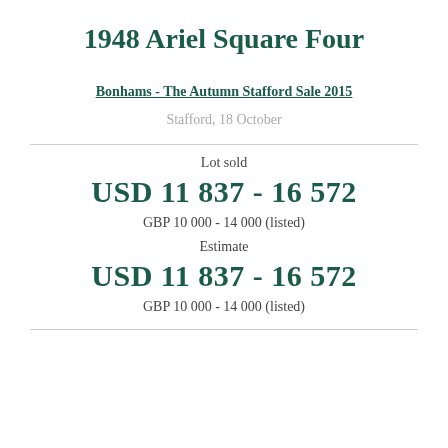1948 Ariel Square Four
Bonhams - The Autumn Stafford Sale 2015
Stafford, 18 October
Lot sold
USD 11 837 - 16 572
GBP 10 000 - 14 000 (listed)
Estimate
USD 11 837 - 16 572
GBP 10 000 - 14 000 (listed)